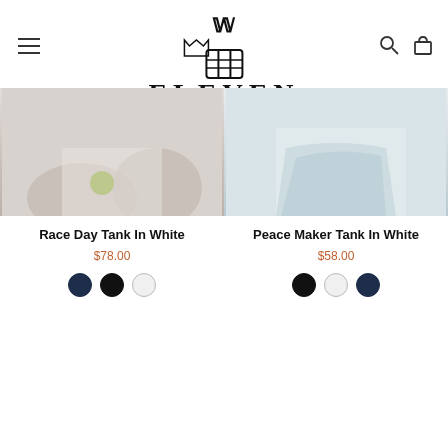ELEVEN BY VENUS WILLIAMS
[Figure (photo): Product photo of Race Day Tank In White - partial view of model wearing white tank]
Race Day Tank In White
$78.00
[Figure (photo): Product photo of Peace Maker Tank In White - partial view of model wearing light blue/white skirt]
Peace Maker Tank In White
$58.00